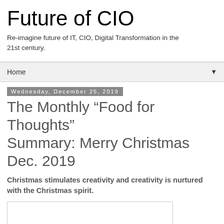Future of CIO
Re-imagine future of IT, CIO, Digital Transformation in the 21st century.
Home ▼
Wednesday, December 25, 2019
The Monthly “Food for Thoughts” Summary: Merry Christmas Dec. 2019
Christmas stimulates creativity and creativity is nurtured with the Christmas spirit.
[Figure (other): Image placeholder box, white rectangle with border]